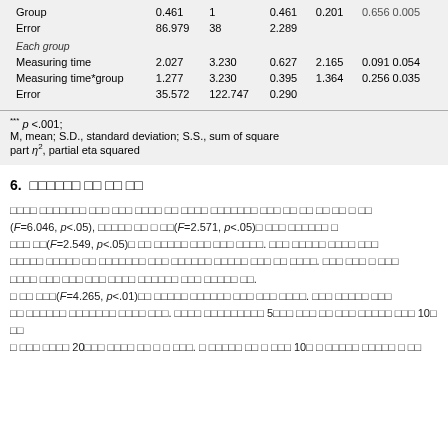|  | S.S. | df | M.S. | F | p | η² |
| --- | --- | --- | --- | --- | --- | --- |
| Group | 0.461 | 1 | 0.461 | 0.201 | 0.656 | 0.005 |
| Error | 86.979 | 38 | 2.289 |  |  |  |
| Each group |  |  |  |  |  |  |
| Measuring time | 2.027 | 3.230 | 0.627 | 2.165 | 0.091 | 0.054 |
| Measuring time*group | 1.277 | 3.230 | 0.395 | 1.364 | 0.256 | 0.035 |
| Error | 35.572 | 122.747 | 0.290 |  |  |  |
*** p <.001; M, mean; S.D., standard deviation; S.S., sum of squares; part η², partial eta squared
6. 그룹카운슬링 전후 변화 비교
그룹카운슬링 프로그램이 참여자들의 사회적 기술에 미치는 영향을 알아보기 위해 사전 사후 검사 비교를 한 결과 그 (F=6.046, p<.05), 사회기술훈련을 받은 후 월 변화(F=2.571, p<.05)가 유의하게 나타났으며 교 상호작용 효과(F=2.549, p<.05)도 둘 다 유의하게 나타나 사회적 기술의 반복측정은 통계 통계적으로 유의하게 나타났음을 보여준다. 사회적 기술에서의 상호작용 효과의 의미는 각 그룹별 상호작용의 의도가 상호작용 경험이 있는 참여자들보다 그렇지 않은 사람들이 프로그램을 통해 통계적으로 더 크게 향상됨을 보여주고 있다. 또한 중요 변수 부분 에서만 월별차이가 있고 다른 변수들은 경험 유무에 따라서도 유의하게 나타나지 않 않았다.